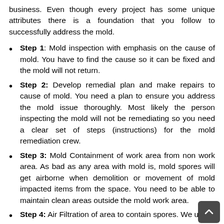business. Even though every project has some unique attributes there is a foundation that you follow to successfully address the mold.
Step 1: Mold inspection with emphasis on the cause of mold. You have to find the cause so it can be fixed and the mold will not return.
Step 2: Develop remedial plan and make repairs to cause of mold. You need a plan to ensure you address the mold issue thoroughly. Most likely the person inspecting the mold will not be remediating so you need a clear set of steps (instructions) for the mold remediation crew.
Step 3: Mold Containment of work area from non work area. As bad as any area with mold is, mold spores will get airborne when demolition or movement of mold impacted items from the space. You need to be able to maintain clean areas outside the mold work area.
Step 4: Air Filtration of area to contain spores. We use...